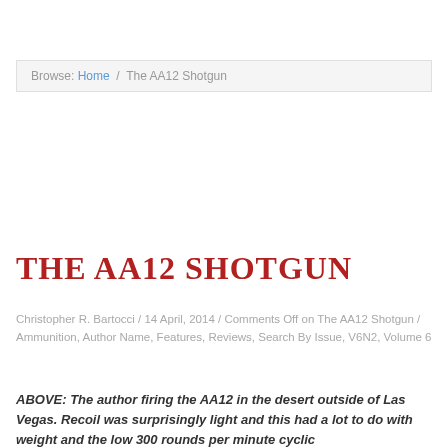Browse: Home / The AA12 Shotgun
THE AA12 SHOTGUN
Christopher R. Bartocci / 14 April, 2014 / Comments Off on The AA12 Shotgun / Ammunition, Author Name, Features, Reviews, Search By Issue, V6N2, Volume 6
ABOVE: The author firing the AA12 in the desert outside of Las Vegas. Recoil was surprisingly light and this had a lot to do with weight and the low 300 rounds per minute cyclic